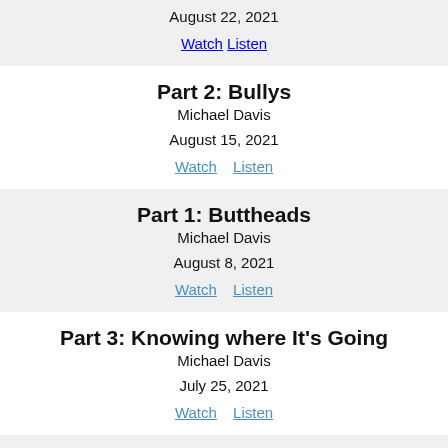August 22, 2021
Watch   Listen
Part 2: Bullys
Michael Davis
August 15, 2021
Watch   Listen
Part 1: Buttheads
Michael Davis
August 8, 2021
Watch   Listen
Part 3: Knowing where It's Going
Michael Davis
July 25, 2021
Watch   Listen
Part 2: Who's Kingdom comes first?
Michael Davis
July 18, 2021